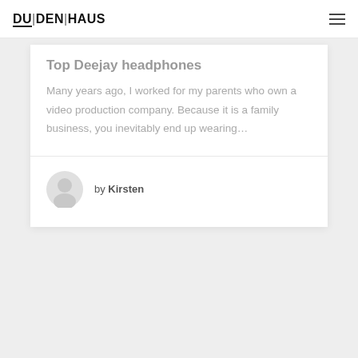DUDENHAUS
Top Deejay headphones
Many years ago, I worked for my parents who own a video production company. Because it is a family business, you inevitably end up wearing…
by Kirsten